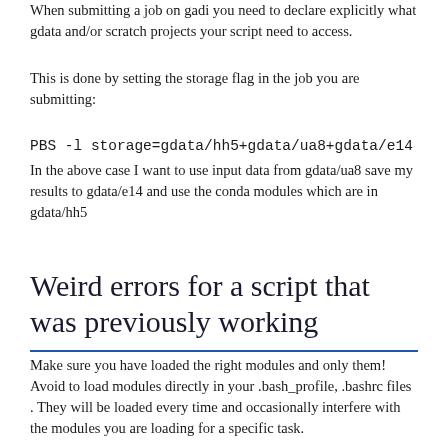When submitting a job on gadi you need to declare explicitly what gdata and/or scratch projects your script need to access.
This is done by setting the storage flag in the job you are submitting:
PBS -l storage=gdata/hh5+gdata/ua8+gdata/e14
In the above case I want to use input data from gdata/ua8 save my results to gdata/e14 and use the conda modules which are in gdata/hh5
Weird errors for a script that was previously working
Make sure you have loaded the right modules and only them! Avoid to load modules directly in your .bash_profile, .bashrc files . They will be loaded every time and occasionally interfere with the modules you are loading for a specific task.